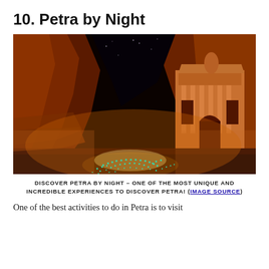10. Petra by Night
[Figure (photo): Nighttime photo of Petra, Jordan — the Treasury (Al-Khazneh) carved into red sandstone cliffs, illuminated by hundreds of candles arranged in spirals on the ground below, with a starry dark sky visible through the narrow canyon gap above.]
DISCOVER PETRA BY NIGHT – ONE OF THE MOST UNIQUE AND INCREDIBLE EXPERIENCES TO DISCOVER PETRA! (IMAGE SOURCE)
One of the best activities to do in Petra is to visit